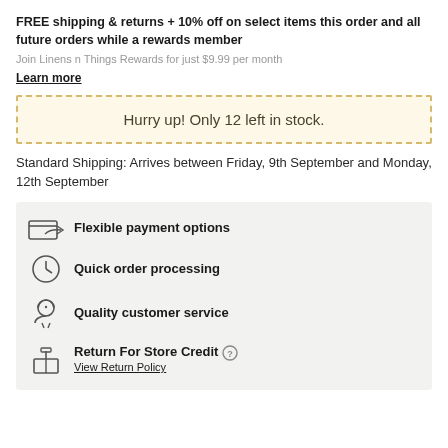FREE shipping & returns + 10% off on select items this order and all future orders while a rewards member
Join Linens n Things Rewards for just $9.99 per month
Learn more
Hurry up! Only 12 left in stock.
Standard Shipping: Arrives between Friday, 9th September and Monday, 12th September
Flexible payment options
Quick order processing
Quality customer service
Return For Store Credit  View Return Policy